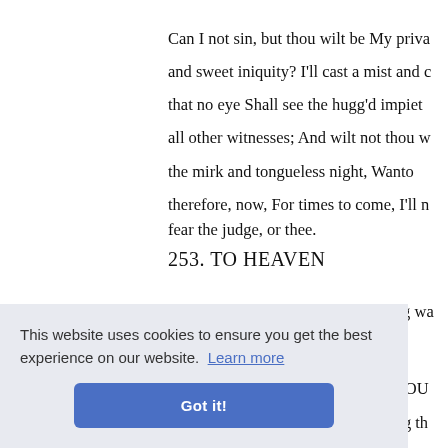Can I not sin, but thou wilt be My private, and sweet iniquity? I'll cast a mist and cloud, so that no eye Shall see the hugg'd impiety: Seal up all other witnesses; And wilt not thou the mirk and tongueless night, Wanton therefore, now, For times to come, I'll not fear the judge, or thee.
253. TO HEAVEN
Open thy gates To him who weeping wa... ...ee, And I
[ OF OUR
In numbers, and but these few, I sing th...